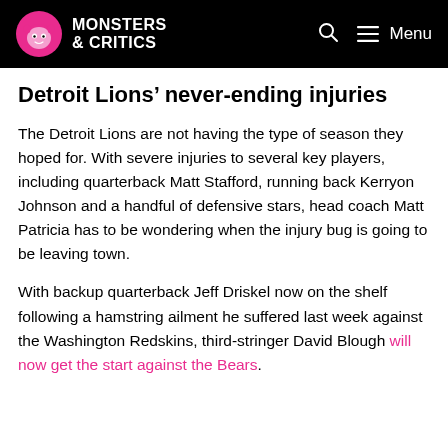Monsters & Critics
Detroit Lions' never-ending injuries
The Detroit Lions are not having the type of season they hoped for. With severe injuries to several key players, including quarterback Matt Stafford, running back Kerryon Johnson and a handful of defensive stars, head coach Matt Patricia has to be wondering when the injury bug is going to be leaving town.
With backup quarterback Jeff Driskel now on the shelf following a hamstring ailment he suffered last week against the Washington Redskins, third-stringer David Blough will now get the start against the Bears.